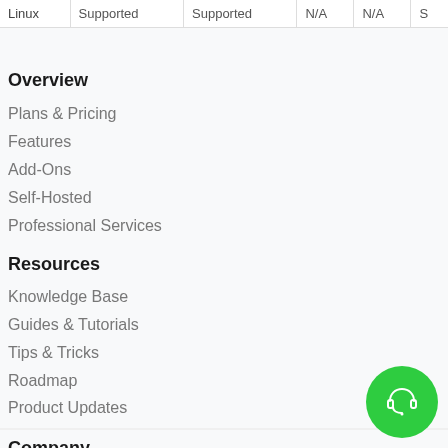|  |  |  |  |  |  |
| --- | --- | --- | --- | --- | --- |
| Linux | Supported | Supported | N/A | N/A | S |
Overview
Plans & Pricing
Features
Add-Ons
Self-Hosted
Professional Services
Resources
Knowledge Base
Guides & Tutorials
Tips & Tricks
Roadmap
Product Updates
Company
About Us
Blog
News & Announcements
[Figure (illustration): Green circular support/chat button with headset icon]